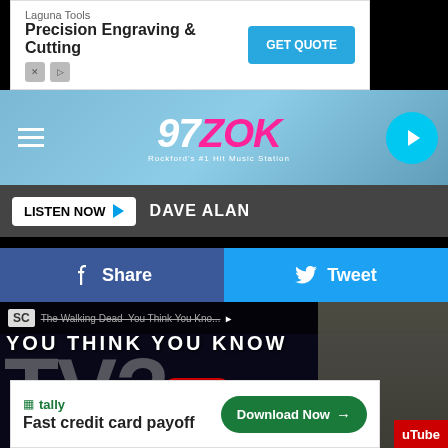[Figure (screenshot): Advertisement banner for Laguna Tools - Precision Engraving & Cutting with GET QUOTE button]
[Figure (logo): 97 ZOK radio station logo with navigation bar, hamburger menu, and play button]
LISTEN NOW ▶ DAVE ALAN
[Figure (screenshot): Facebook Share and Twitter Tweet social sharing buttons]
[Figure (screenshot): YouTube video thumbnail for The Walking Dead - You Think You Know TV? video with play button]
[Figure (screenshot): Tally advertisement - Fast credit card payoff with Download Now button]